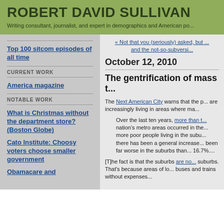ROBERT DAVID SULLIVAN
Writing consultant, journalist, and expert in demographics and American po...
« Not that you (seriously) asked, but ... and the not-so-subversi...
Top 100 sitcom episodes of all time
CURRENT WORK
America magazine
NOTABLE WORK
What is Christmas without the department store? (Boston Globe)
Cato Institute: Choosy voters choose smaller government
Obamacare and...
October 12, 2010
The gentrification of mass t...
The Next American City warns that the p... are increasingly living in areas where ma...
Over the last ten years, more than t... nation's metro areas occurred in the... more poor people living in the subu... there has been a general increase... been far worse in the suburbs than... 16.7%....
[T]he fact is that the suburbs are no... suburbs. That's because areas of lo... buses and trains without expenses...